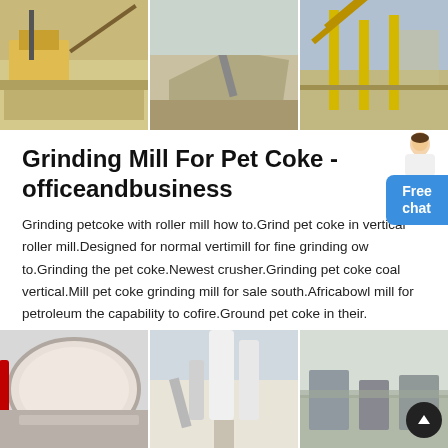[Figure (photo): Three industrial mining/crushing equipment photos side by side forming a top banner]
[Figure (photo): Person icon (customer service avatar) above a blue Free chat widget button]
Grinding Mill For Pet Coke - officeandbusiness
Grinding petcoke with roller mill how to.Grind pet coke in vertical roller mill.Designed for normal vertimill for fine grinding ow to.Grinding the pet coke.Newest crusher.Grinding pet coke coal vertical.Mill pet coke grinding mill for sale south.Africabowl mill for petroleum the capability to cofire.Ground pet coke in their.
[Figure (photo): Three industrial grinding mill equipment photos side by side forming a bottom banner, with a scroll-to-top circular button overlay]